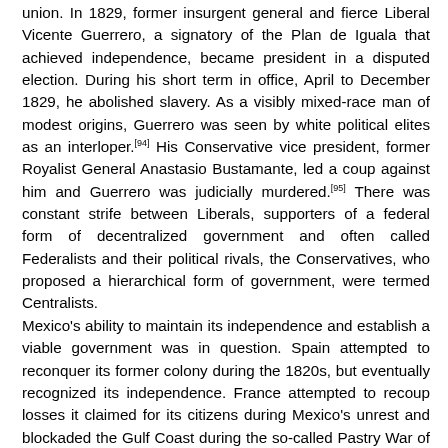union. In 1829, former insurgent general and fierce Liberal Vicente Guerrero, a signatory of the Plan de Iguala that achieved independence, became president in a disputed election. During his short term in office, April to December 1829, he abolished slavery. As a visibly mixed-race man of modest origins, Guerrero was seen by white political elites as an interloper.[94] His Conservative vice president, former Royalist General Anastasio Bustamante, led a coup against him and Guerrero was judicially murdered.[95] There was constant strife between Liberals, supporters of a federal form of decentralized government and often called Federalists and their political rivals, the Conservatives, who proposed a hierarchical form of government, were termed Centralists. Mexico's ability to maintain its independence and establish a viable government was in question. Spain attempted to reconquer its former colony during the 1820s, but eventually recognized its independence. France attempted to recoup losses it claimed for its citizens during Mexico's unrest and blockaded the Gulf Coast during the so-called Pastry War of 1838–39.[96] Antonio López de Santa Anna lost a leg in combat during this conflict, which he used for political